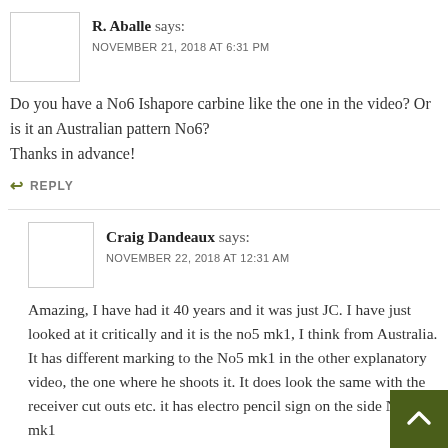R. Aballe says:
NOVEMBER 21, 2018 AT 6:31 PM
Do you have a No6 Ishapore carbine like the one in the video? Or is it an Australian pattern No6?
Thanks in advance!
↩ REPLY
Craig Dandeaux says:
NOVEMBER 22, 2018 AT 12:31 AM
Amazing, I have had it 40 years and it was just JC. I have just looked at it critically and it is the no5 mk1, I think from Australia. It has different marking to the No5 mk1 in the other explanatory video, the one where he shoots it. It does look the same with the receiver cut outs etc. it has electro pencil sign on the side No5 mk1